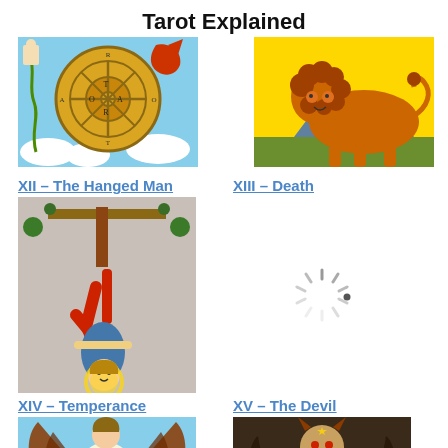Tarot Explained
[Figure (illustration): Tarot card X – Wheel of Fortune showing a wheel with symbols on a blue sky background with clouds and a red winged creature]
[Figure (illustration): Tarot card XI – Strength showing an orange lion on a yellow background with mountains]
XII – The Hanged Man
XIII – Death
[Figure (illustration): Tarot card XII – The Hanged Man showing a man hanging upside down from a T-shaped cross, wearing red pants and blue top, with a golden halo]
[Figure (illustration): Loading spinner icon indicating the Death card image is loading]
XIV – Temperance
XV – The Devil
[Figure (illustration): Tarot card XIV – Temperance showing an angel with brown wings pouring liquid between two golden cups]
[Figure (illustration): Tarot card XV – The Devil showing a horned devil figure seated]